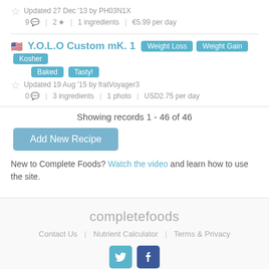Updated 27 Dec '13 by PH03N1X
9 | 2 | 1 ingredients | €5.99 per day
Y.O.L.O Custom mK. 1
Tags: Weight Loss, Weight Gain, Kosher, Baked, Tasty!
Updated 19 Aug '15 by fratVoyager3
0 | 3 ingredients | 1 photo | USD2.75 per day
Showing records 1 - 46 of 46
Add New Recipe
New to Complete Foods? Watch the video and learn how to use the site.
completefoods | Contact Us | Nutrient Calculator | Terms & Privacy